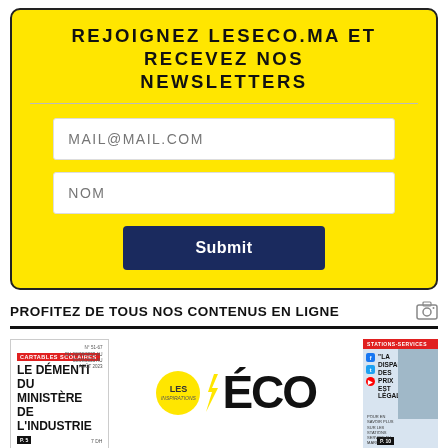REJOIGNEZ LESECO.MA ET RECEVEZ NOS NEWSLETTERS
MAIL@MAIL.COM
NOM
Submit
PROFITEZ DE TOUS NOS CONTENUS EN LIGNE
[Figure (other): Magazine cover thumbnails: left cover showing 'LE DÉMENTI DU MINISTÈRE DE L'INDUSTRIE', center showing 'LES ÉCO' logo with yellow circle and large ECO text, right showing 'STATIONS-SERVICES: LA DISPARITÉ DES PRIX EST LÉGALE' with a person photo]